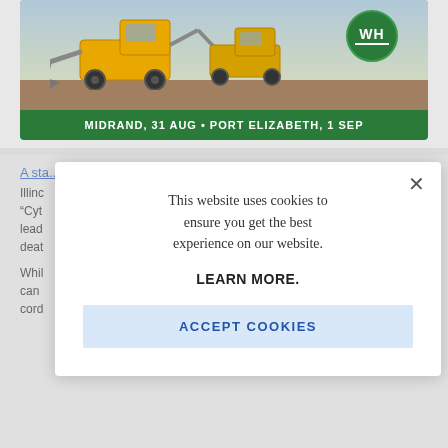[Figure (photo): Construction equipment (yellow excavators/backhoe loaders) on a dirt site. Green banner at bottom reads: MIDRAND, 31 AUG • PORT ELIZABETH, 1 SEP. Green circle logo with WH in upper right.]
A sta...
Illinc
"Cyt
lead
deat
Whil
can
cord
[Figure (screenshot): Cookie consent modal dialog. Text: 'This website uses cookies to ensure you get the best experience on our website. LEARN MORE.' Button: 'ACCEPT COOKIES'. Close X button in top right.]